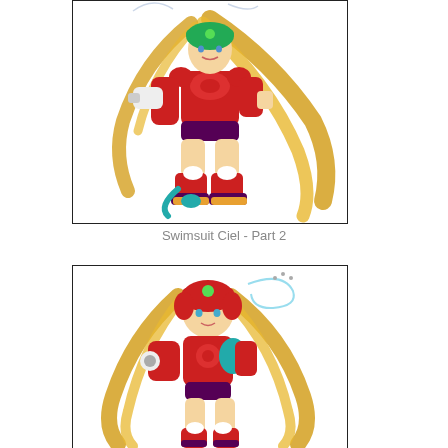[Figure (illustration): Anime-style illustration of a female character (Ciel) in red and black sci-fi armor/swimsuit with long blonde hair, holding a weapon, shown in full body standing pose. Character has robotic boots and armor pieces in red, black and teal.]
Swimsuit Ciel - Part 2
[Figure (illustration): Anime-style illustration of the same female character (Ciel) in red and black sci-fi armor, shown in a different pose with long blonde twin-tails, wearing red armor with teal accents. A swirl/halo effect is depicted above her head.]